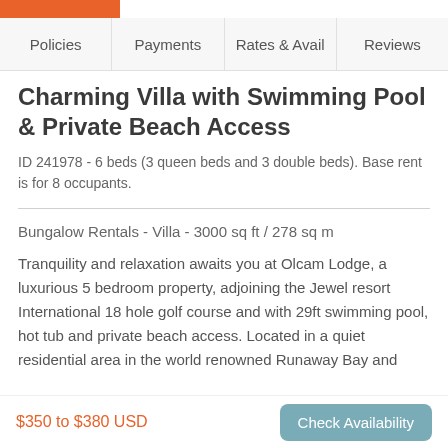Policies | Payments | Rates & Avail | Reviews
Charming Villa with Swimming Pool & Private Beach Access
ID 241978 - 6 beds (3 queen beds and 3 double beds). Base rent is for 8 occupants.
Bungalow Rentals - Villa - 3000 sq ft / 278 sq m
Tranquility and relaxation awaits you at Olcam Lodge, a luxurious 5 bedroom property, adjoining the Jewel resort International 18 hole golf course and with 29ft swimming pool, hot tub and private beach access. Located in a quiet residential area in the world renowned Runaway Bay and
$350 to $380 USD
Check Availability